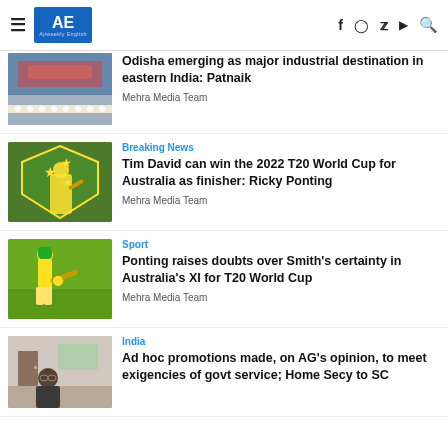AE Ajiweekly English
[Figure (photo): Photo of an event with a crowd and a stage backdrop]
Odisha emerging as major industrial destination in eastern India: Patnaik
Mehra Media Team
[Figure (photo): Cricket player in front of Australian cricket shield logo]
Breaking News
Tim David can win the 2022 T20 World Cup for Australia as finisher: Ricky Ponting
Mehra Media Team
[Figure (photo): Cricket batsman in yellow Australia uniform playing a shot]
Sport
Ponting raises doubts over Smith's certainty in Australia's XI for T20 World Cup
Mehra Media Team
[Figure (photo): Person sitting in an office environment]
India
Ad hoc promotions made, on AG's opinion, to meet exigencies of govt service; Home Secy to SC